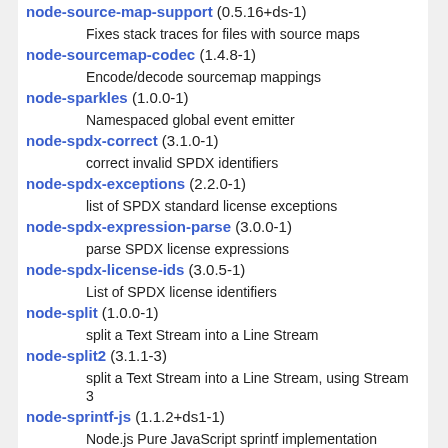node-source-map-support (0.5.16+ds-1)
    Fixes stack traces for files with source maps
node-sourcemap-codec (1.4.8-1)
    Encode/decode sourcemap mappings
node-sparkles (1.0.0-1)
    Namespaced global event emitter
node-spdx-correct (3.1.0-1)
    correct invalid SPDX identifiers
node-spdx-exceptions (2.2.0-1)
    list of SPDX standard license exceptions
node-spdx-expression-parse (3.0.0-1)
    parse SPDX license expressions
node-spdx-license-ids (3.0.5-1)
    List of SPDX license identifiers
node-split (1.0.0-1)
    split a Text Stream into a Line Stream
node-split2 (3.1.1-3)
    split a Text Stream into a Line Stream, using Stream 3
node-sprintf-js (1.1.2+ds1-1)
    Node.js Pure JavaScript sprintf implementation
node-sqlite3 (4.1.1+ds1-1build1)
    asynchronous, non-blocking SQLite3 bindings for Node.js
node-sshpk (1.16.1+dfsg-2)
    library for finding and using SSH public keys
node-starttls (1.0.1-2)
    upgrade a regular `net.Stream` connection to a